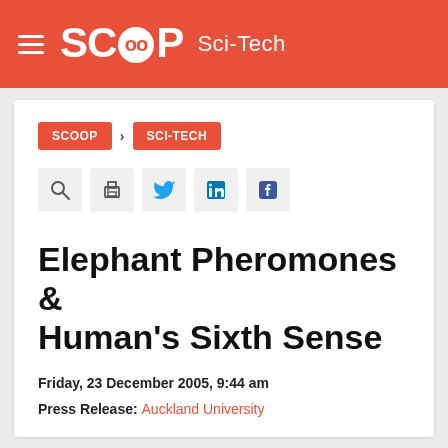SCOOP Sci-Tech
SCOOP > SCI-TECH
Elephant Pheromones & Human's Sixth Sense
Friday, 23 December 2005, 9:44 am
Press Release: Auckland University